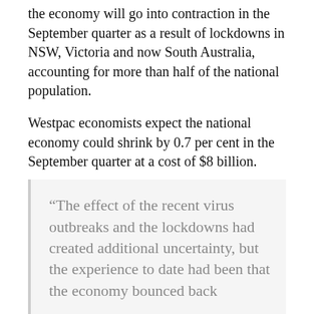the economy will go into contraction in the September quarter as a result of lockdowns in NSW, Victoria and now South Australia, accounting for more than half of the national population.
Westpac economists expect the national economy could shrink by 0.7 per cent in the September quarter at a cost of $8 billion.
However, the minutes from the Reserve Bank of Australia's July 6 board meeting offered some hope for the future, even though their main thrust was somewhat dated by events over the part fortnight.
“The effect of the recent virus outbreaks and the lockdowns had created additional uncertainty, but the experience to date had been that the economy bounced back